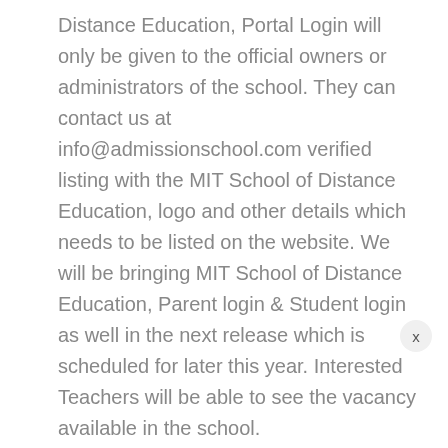Distance Education, Portal Login will only be given to the official owners or administrators of the school. They can contact us at info@admissionschool.com verified listing with the MIT School of Distance Education, logo and other details which needs to be listed on the website. We will be bringing MIT School of Distance Education, Parent login & Student login as well in the next release which is scheduled for later this year. Interested Teachers will be able to see the vacancy available in the school.

We are also coming up with the School Management